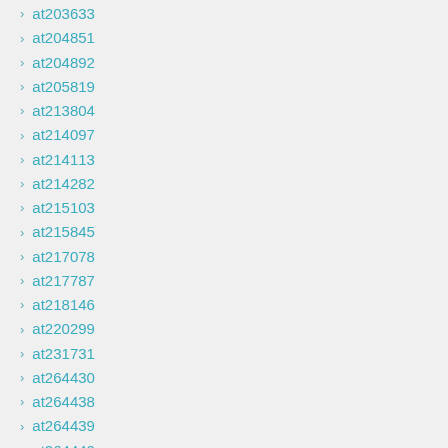at203633
at204851
at204892
at205819
at213804
at214097
at214113
at214282
at215103
at215845
at217078
at217787
at218146
at220299
at231731
at264430
at264438
at264439
at264440